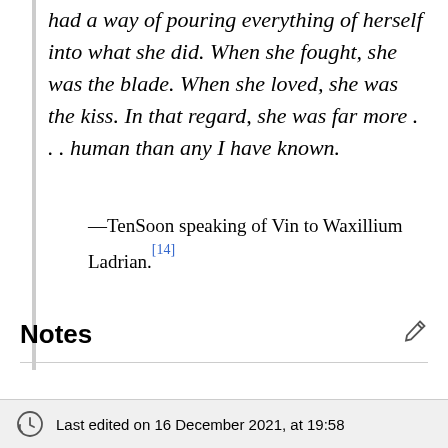had a way of pouring everything of herself into what she did. When she fought, she was the blade. When she loved, she was the kiss. In that regard, she was far more . . . human than any I have known.
—TenSoon speaking of Vin to Waxillium Ladrian.[14]
Notes
Last edited on 16 December 2021, at 19:58